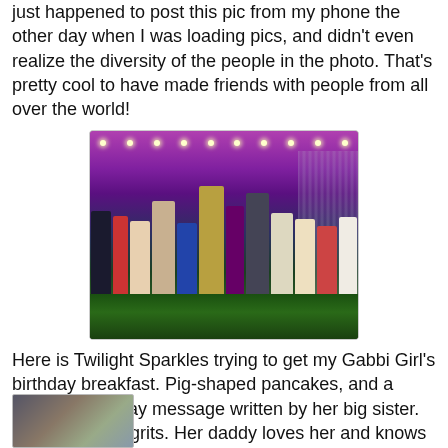just happened to post this pic from my phone the other day when I was loading pics, and didn't even realize the diversity of the people in the photo.  That's pretty cool to have made friends with people from all over the world!
[Figure (photo): Group photo of diverse people celebrating at an event with purple lighting and green plants in the foreground]
Here is Twilight Sparkles trying to get my Gabbi Girl's birthday breakfast.  Pig-shaped pancakes, and a drink with a bday message written by her big sister.  ANd... cheese grits.  Her daddy loves her and knows the way to her heart!
[Figure (photo): Photo strip at bottom of page, partially visible]